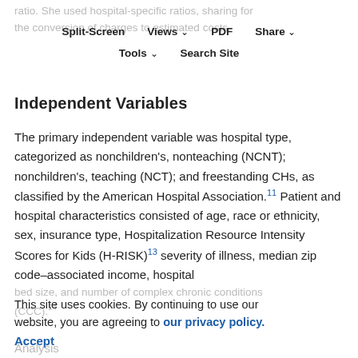ratio. She used hospital-specific ratios, sharing for the conversion of charges to estimated costs.
Split-Screen | Views | PDF | Share | Tools | Search Site
Independent Variables
The primary independent variable was hospital type, categorized as nonchildren's, nonteaching (NCNT); nonchildren's, teaching (NCT); and freestanding CHs, as classified by the American Hospital Association.11 Patient and hospital characteristics consisted of age, race or ethnicity, sex, insurance type, Hospitalization Resource Intensity Scores for Kids (H-RISK)13 severity of illness, median zip code–associated income, hospital bed size, and number of complex chronic conditions (CCC).14
This site uses cookies. By continuing to use our website, you are agreeing to our privacy policy. Accept
Analysis